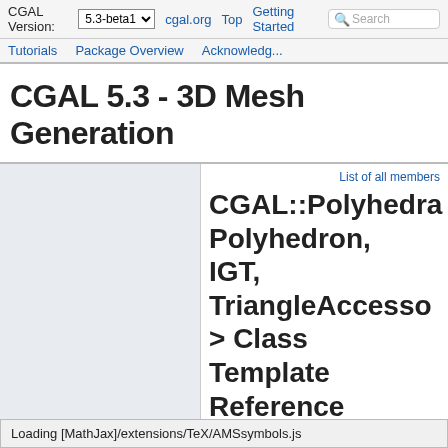CGAL Version: 5.3-beta1  cgal.org  Top  Getting Started  Tutorials  Package Overview  Acknowledg...  Search
CGAL 5.3 - 3D Mesh Generation
List of all members
CGAL::Polyhedral_mesh_domain_with_features_3< MeshPolyhedron, IGT, TriangleAccessor > Class Template Reference
3D Mesh Generation Reference
»
Domain Classes
Loading [MathJax]/extensions/TeX/AMSsymbols.js